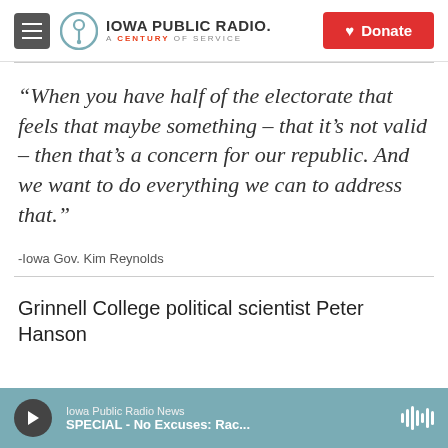Iowa Public Radio. A Century of Service | Donate
“When you have half of the electorate that feels that maybe something – that it’s not valid – then that’s a concern for our republic. And we want to do everything we can to address that.”
-Iowa Gov. Kim Reynolds
Grinnell College political scientist Peter Hanson
Iowa Public Radio News
SPECIAL - No Excuses: Rac...